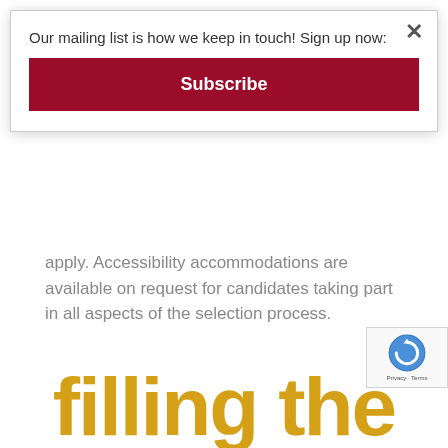Our mailing list is how we keep in touch! Sign up now:
[Figure (other): Subscribe button - dark red/maroon rectangular button with white bold text 'Subscribe']
apply. Accessibility accommodations are available on request for candidates taking part in all aspects of the selection process.
[Figure (other): Large decorative gold/yellow text reading 'filling the' partially visible at bottom of page]
[Figure (other): reCAPTCHA badge in bottom right corner with logo and 'Privacy - Terms' text]